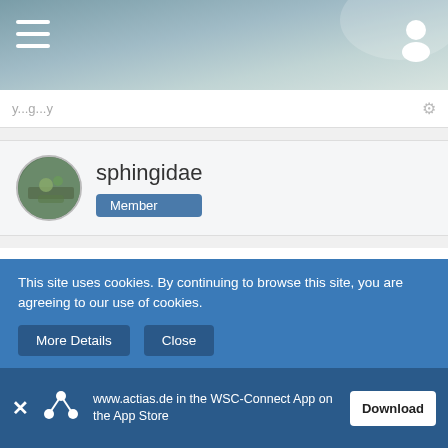[Figure (screenshot): Mobile app top navigation bar with hamburger menu icon on left and user profile icon on right, gradient blue-green background]
sphingidae
Member
Nov 7th 2013
Hello Jevgnij,
Cephalaria spec.,Dipsacus spec.,Knautia spec.,Scabiosa spec.,Succisia pratensis,(Dipsacaceae)
Echium spec.,Anchusa spec.,(Boraginaceae),Lonicera spec.
This site uses cookies. By continuing to browse this site, you are agreeing to our use of cookies.
More Details
Close
www.actias.de in the WSC-Connect App on the App Store
Download